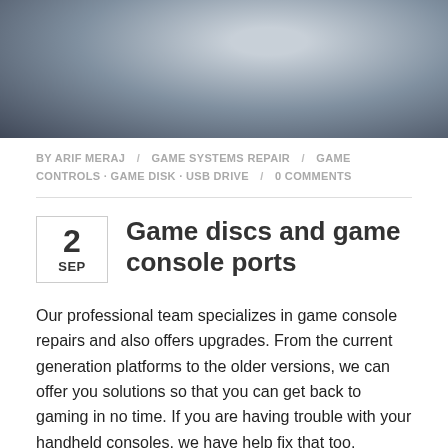[Figure (photo): Blurred photo of a person, upper portion visible, dark and grey tones]
BY ARIF MERAJ / GAME SYSTEMS REPAIR / GAME CONTROLS · GAME DISK · USB DRIVE / 0 COMMENTS
Game discs and game console ports
Our professional team specializes in game console repairs and also offers upgrades. From the current generation platforms to the older versions, we can offer you solutions so that you can get back to gaming in no time. If you are having trouble with your handheld consoles, we have help fix that too.
READ MORE ▶